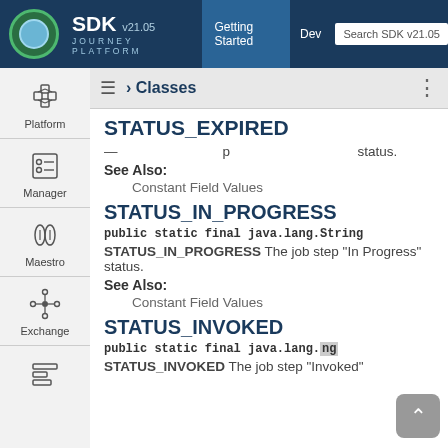SDK v21.05 JOURNEY PLATFORM — Getting Started | Dev | Search SDK v21.05
STATUS_EXPIRED
status.
See Also:
Constant Field Values
STATUS_IN_PROGRESS
public static final java.lang.String STATUS_IN_PROGRESS The job step "In Progress" status.
See Also:
Constant Field Values
STATUS_INVOKED
public static final java.lang.String STATUS_INVOKED The job step "Invoked"